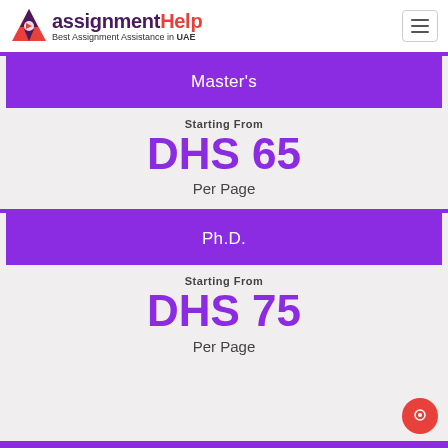AssignmentHelp — Best Assignment Assistance in UAE
Master's
Starting From
DHS 65
Per Page
Ph.D.
Starting From
DHS 75
Per Page